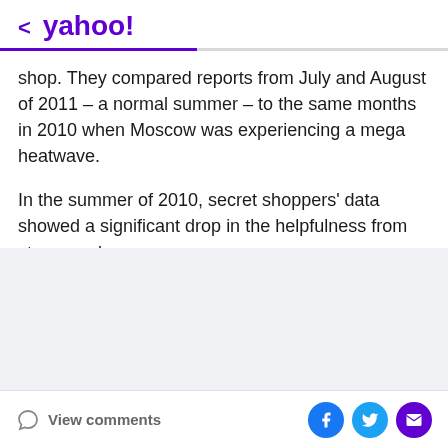< yahoo!
shop. They compared reports from July and August of 2011 – a normal summer – to the same months in 2010 when Moscow was experiencing a mega heatwave.
In the summer of 2010, secret shoppers' data showed a significant drop in the helpfulness from store employees.
Advertisement
View comments